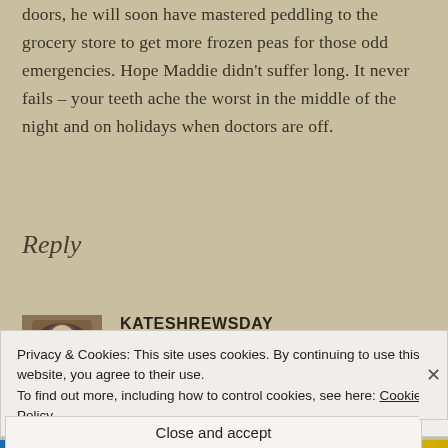doors, he will soon have mastered peddling to the grocery store to get more frozen peas for those odd emergencies. Hope Maddie didn't suffer long. It never fails – your teeth ache the worst in the middle of the night and on holidays when doctors are off.
Reply
KATESHREWSDAY
NOVEMBER 25, 2012 AT 7:42 AM
Privacy & Cookies: This site uses cookies. By continuing to use this website, you agree to their use.
To find out more, including how to control cookies, see here: Cookie Policy
Close and accept